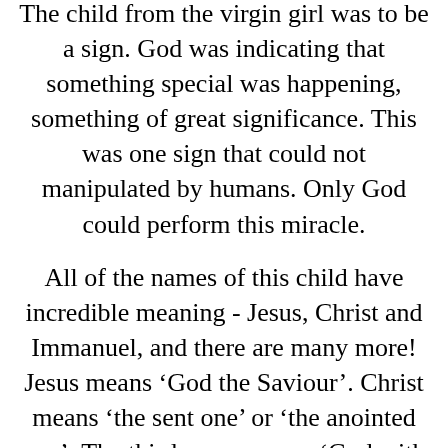The child from the virgin girl was to be a sign. God was indicating that something special was happening, something of great significance. This was one sign that could not manipulated by humans. Only God could perform this miracle.
All of the names of this child have incredible meaning - Jesus, Christ and Immanuel, and there are many more! Jesus means ‘God the Saviour’. Christ means ‘the sent one’ or ‘the anointed one’. The third name means ‘God with us’. The child of the virgin would be God becoming flesh, God was visiting His people.